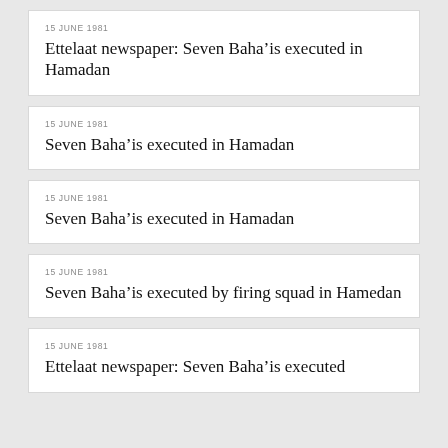15 JUNE 1981
Ettelaat newspaper: Seven Baha’is executed in Hamadan
15 JUNE 1981
Seven Baha’is executed in Hamadan
15 JUNE 1981
Seven Baha’is executed in Hamadan
15 JUNE 1981
Seven Baha’is executed by firing squad in Hamedan
15 JUNE 1981
Ettelaat newspaper: Seven Baha’is executed